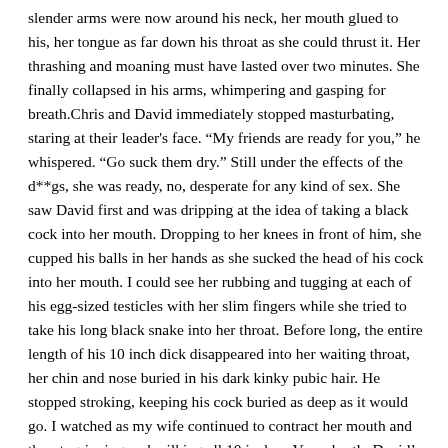slender arms were now around his neck, her mouth glued to his, her tongue as far down his throat as she could thrust it. Her thrashing and moaning must have lasted over two minutes. She finally collapsed in his arms, whimpering and gasping for breath.Chris and David immediately stopped masturbating, staring at their leader's face. "My friends are ready for you," he whispered. "Go suck them dry." Still under the effects of the d**gs, she was ready, no, desperate for any kind of sex. She saw David first and was dripping at the idea of taking a black cock into her mouth. Dropping to her knees in front of him, she cupped his balls in her hands as she sucked the head of his cock into her mouth. I could see her rubbing and tugging at each of his egg-sized testicles with her slim fingers while she tried to take his long black snake into her throat. Before long, the entire length of his 10 inch dick disappeared into her waiting throat, her chin and nose buried in his dark kinky pubic hair. He stopped stroking, keeping his cock buried as deep as it would go. I watched as my wife continued to contract her mouth and throat, gripping and milking all 10 inches. Very shortly David's face winced as he